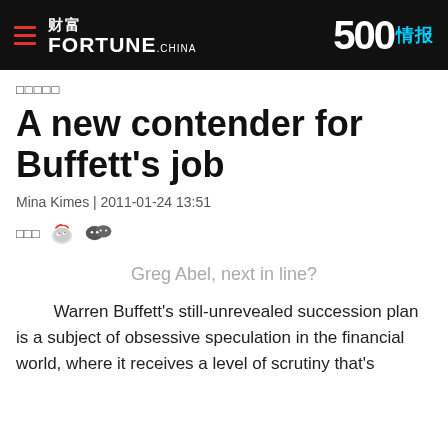财富 FORTUNE.CHINA | 500情报
□□□□□
A new contender for Buffett's job
Mina Kimes | 2011-01-24 13:51
□□□ [Weibo] [WeChat]
Greg Abel, next in line?
Warren Buffett's still-unrevealed succession plan is a subject of obsessive speculation in the financial world, where it receives a level of scrutiny that's